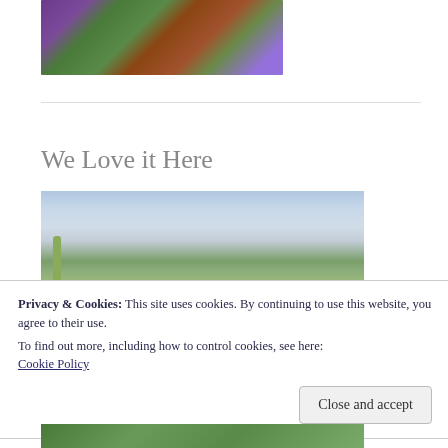[Figure (photo): Close-up photo of purple/magenta flowers with green leaves growing among brown rocks]
We Love it Here
[Figure (photo): Landscape photo showing a blue cloudy sky with a saguaro cactus silhouette on the left side, and green desert vegetation at the bottom]
Privacy & Cookies: This site uses cookies. By continuing to use this website, you agree to their use.
To find out more, including how to control cookies, see here: Cookie Policy
Close and accept
[Figure (photo): Partial view of a desert scene with green cacti and vegetation]